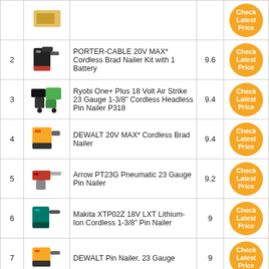| # | Image | Product | Score | Price |
| --- | --- | --- | --- | --- |
|  |  | (partial top row) |  | Check Latest Price |
| 2 | [img] | PORTER-CABLE 20V MAX* Cordless Brad Nailer Kit with 1 Battery | 9.6 | Check Latest Price |
| 3 | [img] | Ryobi One+ Plus 18 Volt Air Strike 23 Gauge 1-3/8" Cordless Headless Pin Nailer P318 | 9.4 | Check Latest Price |
| 4 | [img] | DEWALT 20V MAX* Cordless Brad Nailer | 9.4 | Check Latest Price |
| 5 | [img] | Arrow PT23G Pneumatic 23 Gauge Pin Nailer | 9.2 | Check Latest Price |
| 6 | [img] | Makita XTP02Z 18V LXT Lithium-Ion Cordless 1-3/8" Pin Nailer | 9 | Check Latest Price |
| 7 | [img] | DEWALT Pin Nailer, 23 Gauge | 9 | Check Latest Price |